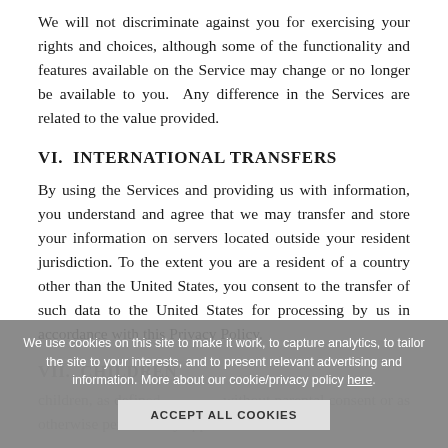We will not discriminate against you for exercising your rights and choices, although some of the functionality and features available on the Service may change or no longer be available to you.  Any difference in the Services are related to the value provided.
VI.  INTERNATIONAL TRANSFERS
By using the Services and providing us with information, you understand and agree that we may transfer and store your information on servers located outside your resident jurisdiction. To the extent you are a resident of a country other than the United States, you consent to the transfer of such data to the United States for processing by us in accordance with this Privacy Policy.
VII.  CHILDREN
children, as defined ... without parental consent or as otherwise permitted by applicable law.
VIII.  DATA RETENTION, SECURITY, AND
We use cookies on this site to make it work, to capture analytics, to tailor the site to your interests, and to present relevant advertising and information. More about our cookie/privacy policy here.